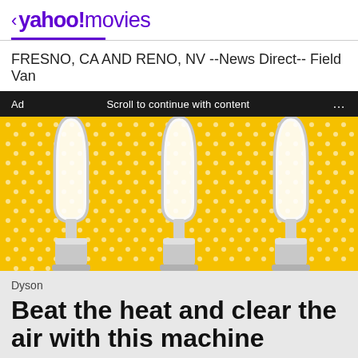< yahoo!movies
FRESNO, CA AND RENO, NV --News Direct-- Field Van
Ad   Scroll to continue with content   ...
[Figure (photo): Advertisement image showing three Dyson bladeless fan/purifier towers on a yellow polka-dot background]
Dyson
Beat the heat and clear the air with this machine